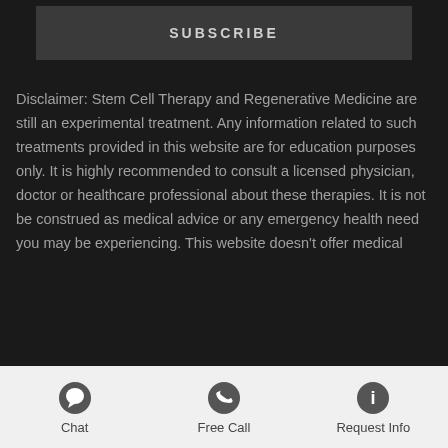SUBSCRIBE
Disclaimer: Stem Cell Therapy and Regenerative Medicine are still an experimental treatment. Any information related to such treatments provided in this website are for education purposes only. It is highly recommended to consult a licensed physician, doctor or healthcare professional about these therapies. It is not be construed as medical advice or any emergency health need you may be experiencing. This website doesn't offer medical
Chat   Free Call   Request Info